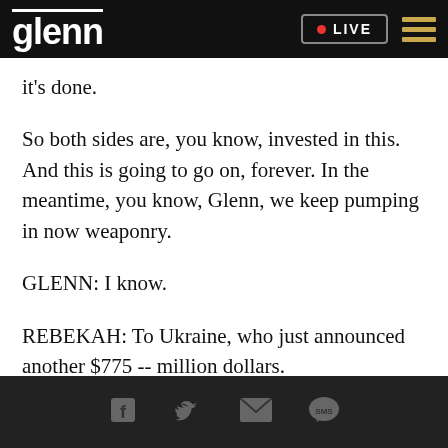glenn | LIVE
it's done.
So both sides are, you know, invested in this. And this is going to go on, forever. In the meantime, you know, Glenn, we keep pumping in now weaponry.
GLENN: I know.
REBEKAH: To Ukraine, who just announced another $775 -- million dollars.
[social share icons: Facebook, Twitter, Email, SMS]